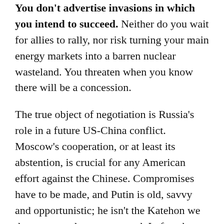You don't advertise invasions in which you intend to succeed. Neither do you wait for allies to rally, nor risk turning your main energy markets into a barren nuclear wasteland. You threaten when you know there will be a concession.
The true object of negotiation is Russia's role in a future US-China conflict. Moscow's cooperation, or at least its abstention, is crucial for any American effort against the Chinese. Compromises have to be made, and Putin is old, savvy and opportunistic; he isn't the Katehon we deserve, nor the one we need. In fact, he often ends up playing the role of the Global Mafia's tough enforcer with a side gig.
OK, but what's the relation to the Kazakh affair?
The Central Asian republic acts in this game as a token